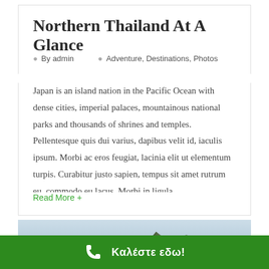Northern Thailand At A Glance
By admin   Adventure, Destinations, Photos
Japan is an island nation in the Pacific Ocean with dense cities, imperial palaces, mountainous national parks and thousands of shrines and temples. Pellentesque quis dui varius, dapibus velit id, iaculis ipsum. Morbi ac eros feugiat, lacinia elit ut elementum turpis. Curabitur justo sapien, tempus sit amet rutrum eu, commodo eu lacus. Morbi in ligula
Read More +
[Figure (photo): Mountain landscape with green peaks against a light blue cloudy sky]
Καλέστε εδω!